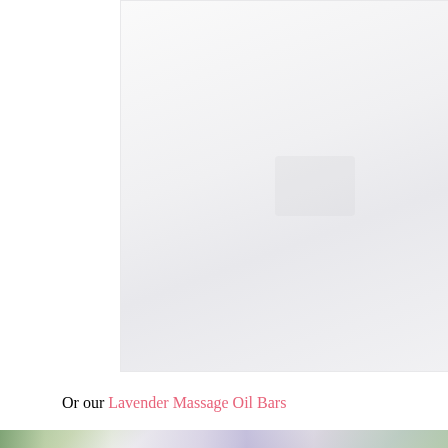[Figure (photo): A mostly white/light gray photo area, appears to be a product or lifestyle image with very faint details visible]
Or our Lavender Massage Oil Bars
[Figure (photo): Bottom strip of a photo showing lavender flowers, white objects, and green foliage — a lavender massage oil bars product photo]